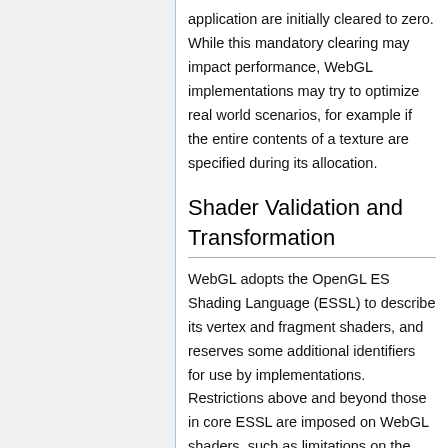application are initially cleared to zero. While this mandatory clearing may impact performance, WebGL implementations may try to optimize real world scenarios, for example if the entire contents of a texture are specified during its allocation.
Shader Validation and Transformation
WebGL adopts the OpenGL ES Shading Language (ESSL) to describe its vertex and fragment shaders, and reserves some additional identifiers for use by implementations. Restrictions above and beyond those in core ESSL are imposed on WebGL shaders, such as limitations on the structure of loops and indexing expressions in fragment shaders. These